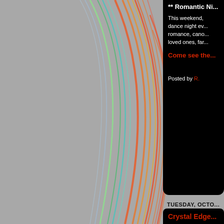[Figure (photo): Abstract colorful light streaks (rainbow/neon curves) on gray background, covering the left portion of the page]
** Romantic Ni...
This weekend, dance night ev... romance, cand... loved ones, far...
Come see the...
Posted by R.
TUESDAY, OCTO...
Crystal Edge...